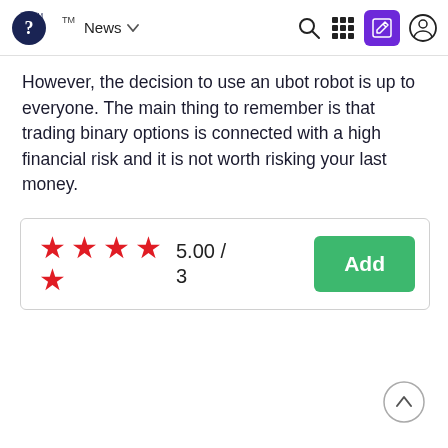News
However, the decision to use an ubot robot is up to everyone. The main thing to remember is that trading binary options is connected with a high financial risk and it is not worth risking your last money.
[Figure (other): Rating widget showing 5 red stars (4 in a row, 1 below), score 5.00 / 3, and a green Add button]